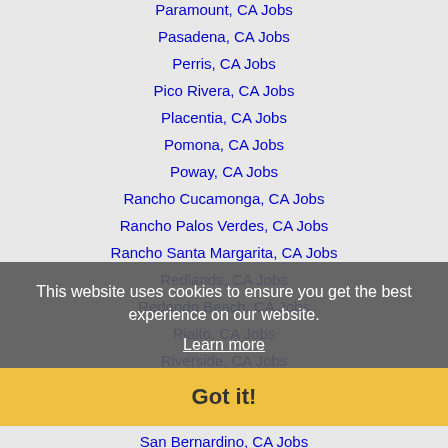Paramount, CA Jobs
Pasadena, CA Jobs
Perris, CA Jobs
Pico Rivera, CA Jobs
Placentia, CA Jobs
Pomona, CA Jobs
Poway, CA Jobs
Rancho Cucamonga, CA Jobs
Rancho Palos Verdes, CA Jobs
Rancho Santa Margarita, CA Jobs
Redlands, CA Jobs
Redondo Beach, CA Jobs
Rialto, CA Jobs
Riverside, CA Jobs
Rosemead, CA Jobs
Rowland Heights, CA Jobs
San Bernardino, CA Jobs
San Clemente, CA Jobs
San Diego, CA Jobs
This website uses cookies to ensure you get the best experience on our website.
Learn more
Got it!